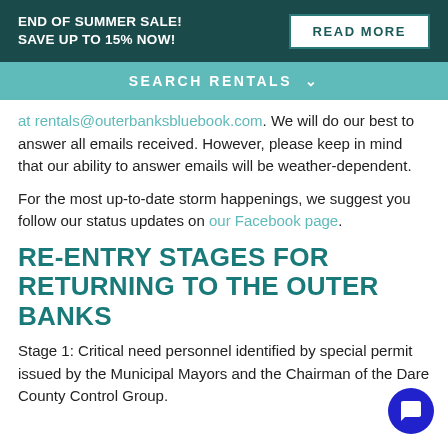END OF SUMMER SALE! SAVE UP TO 15% NOW! | READ MORE
SEARCH RENTALS ∨
... answer all emails received. However, please keep in mind that our ability to answer emails will be weather-dependent.
For the most up-to-date storm happenings, we suggest you follow our status updates on our Facebook page.
RE-ENTRY STAGES FOR RETURNING TO THE OUTER BANKS
Stage 1: Critical need personnel identified by special permit issued by the Municipal Mayors and the Chairman of the Dare County Control Group.